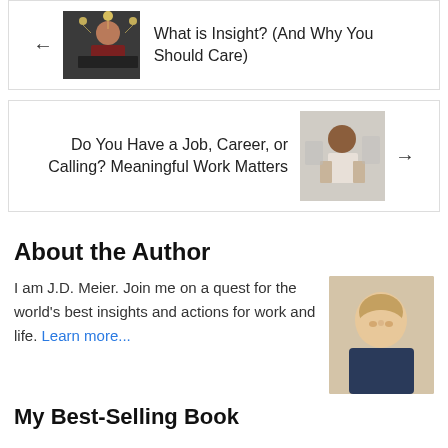[Figure (screenshot): Navigation card top: left arrow, photo of woman with lights overhead at laptop, title 'What is Insight? (And Why You Should Care)']
[Figure (screenshot): Navigation card bottom: title 'Do You Have a Job, Career, or Calling? Meaningful Work Matters', photo of woman painting, right arrow]
About the Author
I am J.D. Meier. Join me on a quest for the world's best insights and actions for work and life. Learn more...
[Figure (photo): Headshot photo of J.D. Meier, a man with light brown hair]
My Best-Selling Book